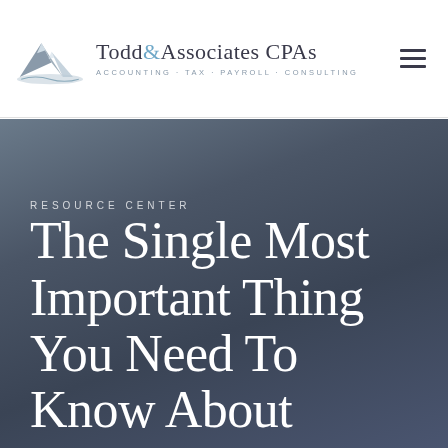[Figure (logo): Todd & Associates CPAs logo with mountain graphic and tagline: ACCOUNTING · TAX · PAYROLL · CONSULTING]
Todd&Associates CPAs · ACCOUNTING · TAX · PAYROLL · CONSULTING
RESOURCE CENTER
The Single Most Important Thing You Need To Know About